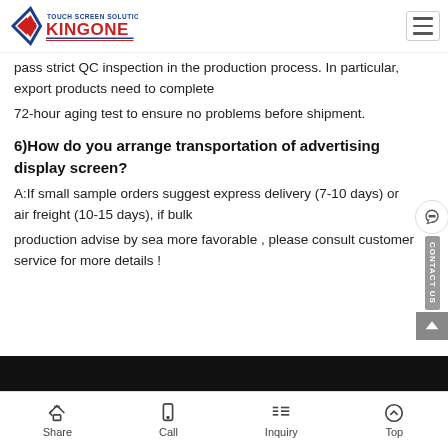[Figure (logo): KingOne Touch Screen Solutions logo with diamond/arrow graphic in blue and red]
pass strict QC inspection in the production process. In particular, export products need to complete
72-hour aging test to ensure no problems before shipment.
6)How do you arrange transportation of advertising display screen?
A:If small sample orders suggest express delivery (7-10 days) or air freight (10-15 days), if bulk
production advise by sea more favorable , please consult customer service for more details !